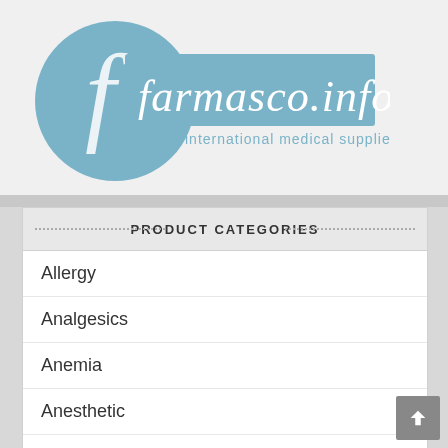[Figure (logo): farmasco.info international medical supplies logo — blue circle with cursive 'f', blue rectangular banner with 'farmasco.info' in white italic text, and 'international medical supplies' subtitle in light blue]
PRODUCT CATEGORIES
Allergy
Analgesics
Anemia
Anesthetic
Antagonists
Anti-asthmatic
Anti-glaucoma